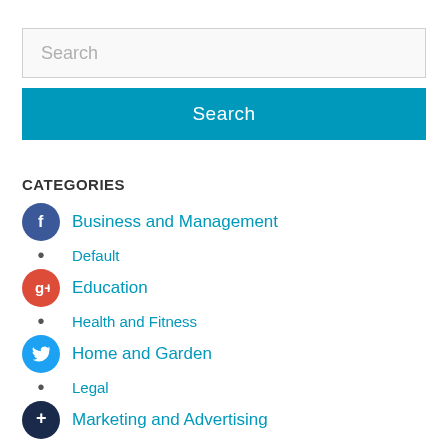[Figure (screenshot): Search input box with placeholder text 'Search']
[Figure (screenshot): Blue 'Search' button]
CATEGORIES
Business and Management
Default
Education
Health and Fitness
Home and Garden
Legal
Marketing and Advertising
Pets
Technology and Gadgets
Travel and Leisure